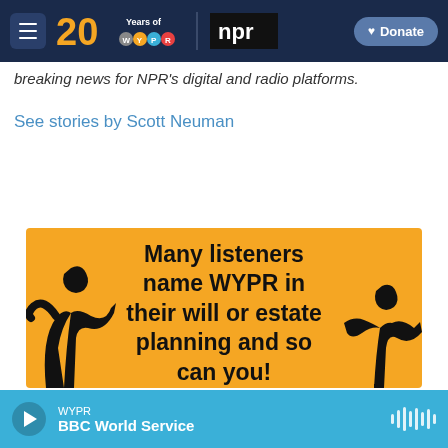[Figure (screenshot): WYPR 20 Years navigation bar with hamburger menu, 20 Years of WYPR logo, NPR logo, and Donate button on dark navy background]
breaking news for NPR's digital and radio platforms.
See stories by Scott Neuman
[Figure (illustration): Yellow/orange advertisement banner reading 'Many listeners name WYPR in their will or estate planning and so can you!' with silhouette figures on each side]
WYPR / BBC World Service — audio player bar